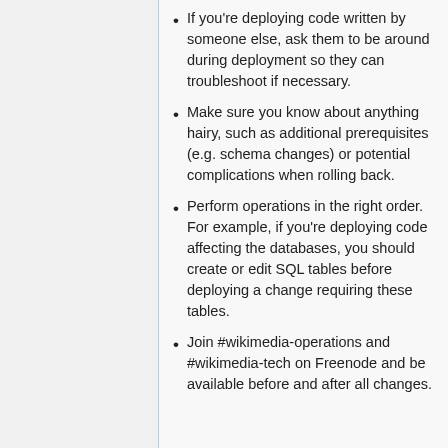If you're deploying code written by someone else, ask them to be around during deployment so they can troubleshoot if necessary.
Make sure you know about anything hairy, such as additional prerequisites (e.g. schema changes) or potential complications when rolling back.
Perform operations in the right order. For example, if you're deploying code affecting the databases, you should create or edit SQL tables before deploying a change requiring these tables.
Join #wikimedia-operations and #wikimedia-tech on Freenode and be available before and after all changes.